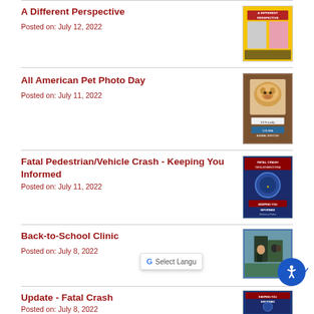A Different Perspective
Posted on: July 12, 2022
[Figure (photo): A Different Perspective thumbnail - yellow background with police officer photos]
All American Pet Photo Day
Posted on: July 11, 2022
[Figure (photo): All American Pet Photo Day thumbnail - dog photo on brown background]
Fatal Pedestrian/Vehicle Crash - Keeping You Informed
Posted on: July 11, 2022
[Figure (photo): Fatal Crash - Keeping You Informed thumbnail - dark blue background]
Back-to-School Clinic
Posted on: July 8, 2022
[Figure (photo): Back-to-School Clinic thumbnail - outdoor photo]
Update - Fatal Crash
Posted on: July 8, 2022
[Figure (photo): Keeping You Informed thumbnail - dark blue background with police badge]